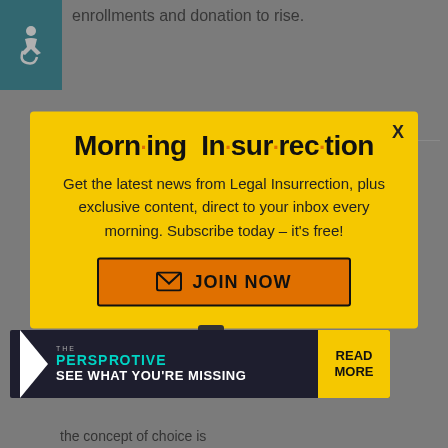[Figure (illustration): Wheelchair accessibility icon, white figure on teal/dark cyan background]
enrollments and donation to rise.
casualobserver in reply to
[Figure (infographic): Morning Insurrection newsletter popup modal with yellow background. Title: 'Morn·ing In·sur·rec·tion'. Body: 'Get the latest news from Legal Insurrection, plus exclusive content, direct to your inbox every morning. Subscribe today – it's free!' with orange JOIN NOW button. X close button top right.]
[Figure (infographic): Ad banner: THE PERSPECTIVE - SEE WHAT YOU'RE MISSING - READ MORE. Dark background with teal text and yellow button.]
the concept of choice is